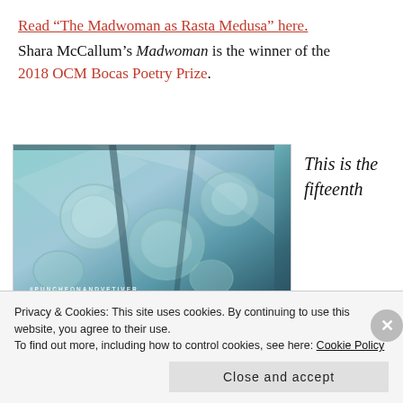Read “The Madwoman as Rasta Medusa” here.
Shara McCallum’s Madwoman is the winner of the 2018 OCM Bocas Poetry Prize.
[Figure (photo): Book cover for Puncheon and Vetiver, showing glass jars from above with teal-toned photography and the hashtag #PUNCHEONANDVETIVER]
This is the fifteenth
Privacy & Cookies: This site uses cookies. By continuing to use this website, you agree to their use.
To find out more, including how to control cookies, see here: Cookie Policy